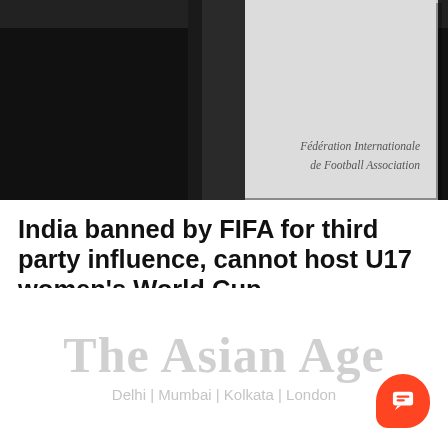[Figure (photo): Photo showing a dark background on left and a light grey card with 'Fédération Internationale de Football Association' text on right — FIFA branding card.]
India banned by FIFA for third party influence, cannot host U17 women's World Cup
[Figure (logo): The Asian Age newspaper logo with tagline 'Delhi | Mumbai | Kolkata | London' in light grey watermark style.]